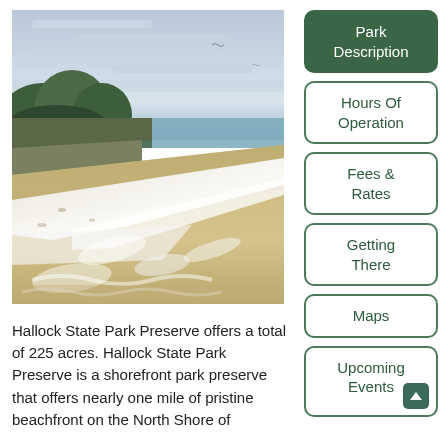[Figure (photo): Beach shoreline photo showing ocean waves washing up on sandy beach with trees and cliffs in background under cloudy sky — Hallock State Park Preserve]
Hallock State Park Preserve offers a total of 225 acres. Hallock State Park Preserve is a shorefront park preserve that offers nearly one mile of pristine beachfront on the North Shore of
Park Description
Hours Of Operation
Fees & Rates
Getting There
Maps
Upcoming Events